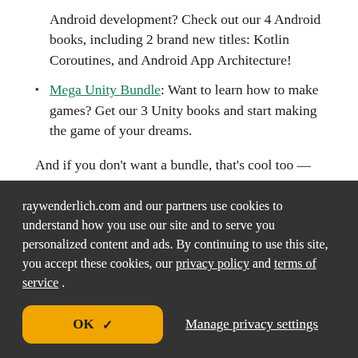Android development? Check out our 4 Android books, including 2 brand new titles: Kotlin Coroutines, and Android App Architecture!
Mega Unity Bundle: Want to learn how to make games? Get our 3 Unity books and start making the game of your dreams.
And if you don't want a bundle, that's cool too — all of our individual books are 50% off!
raywenderlich.com and our partners use cookies to understand how you use our site and to serve you personalized content and ads. By continuing to use this site, you accept these cookies, our privacy policy and terms of service.